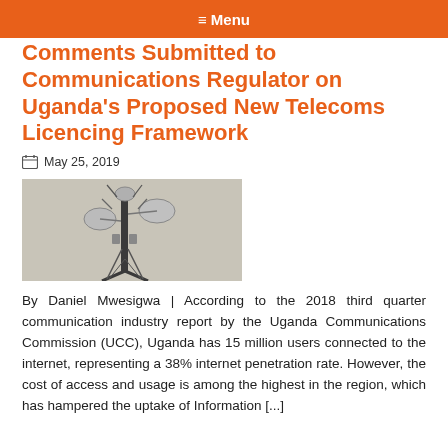≡ Menu
Comments Submitted to Communications Regulator on Uganda's Proposed New Telecoms Licencing Framework
May 25, 2019
[Figure (photo): A telecommunications tower with multiple dish antennas and equipment against a light sky background]
By Daniel Mwesigwa | According to the 2018 third quarter communication industry report by the Uganda Communications Commission (UCC), Uganda has 15 million users connected to the internet, representing a 38% internet penetration rate. However, the cost of access and usage is among the highest in the region, which has hampered the uptake of Information [...]